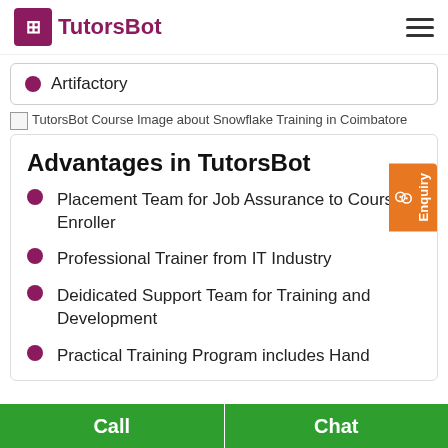[Figure (logo): TutorsBot logo with purple/maroon square icon and brand name]
Artifactory
[Figure (photo): TutorsBot Course Image about Snowflake Training in Coimbatore]
Advantages in TutorsBot
Placement Team for Job Assurance to Course Enroller
Professional Trainer from IT Industry
Deidicated Support Team for Training and Development
Practical Training Program includes Hand
Call  |  Chat